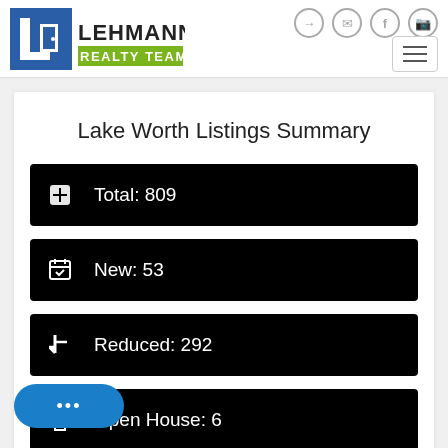[Figure (logo): Lehmann Realty Team logo with blue L icon and green background REALTY TEAM text]
Lake Worth Listings Summary
Total: 809
New: 53
Reduced: 292
Open House: 6